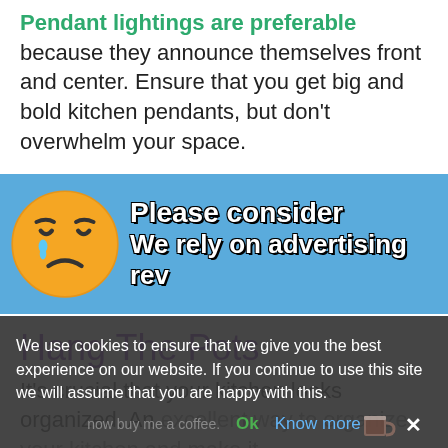Pendant lightings are preferable because they announce themselves front and center. Ensure that you get big and bold kitchen pendants, but don't overwhelm your space.
[Figure (infographic): Ad banner with blue background, crying emoji face on left, white bold text on right reading 'Please consider' and 'We rely on advertising rev']
Hang The Pots
It's crucial that your kitchen looks organized. An excellent way to organize your kitchen and make it...cabinets...ha...je
We use cookies to ensure that we give you the best experience on our website. If you continue to use this site we will assume that you are happy with this. [OK] [Know more]